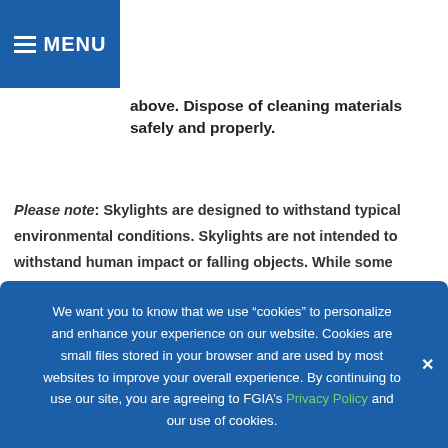MENU
above. Dispose of cleaning materials safely and properly.
Please note: Skylights are designed to withstand typical environmental conditions. Skylights are not intended to withstand human impact or falling objects. While some skylights are more impact resistant than others, never
We want you to know that we use “cookies” to personalize and enhance your experience on our website. Cookies are small files stored in your browser and are used by most websites to improve your overall experience. By continuing to use our site, you are agreeing to FGIA’s Privacy Policy and our use of cookies.